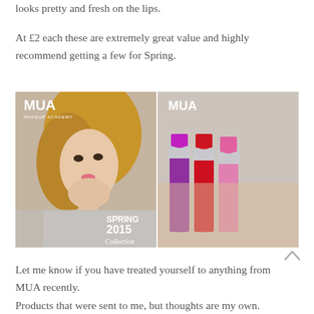looks pretty and fresh on the lips.
At £2 each these are extremely great value and highly recommend getting a few for Spring.
[Figure (photo): Two-panel photo. Left panel: MUA Makeup Academy Spring 2015 Collection catalog cover showing a blonde woman. Right panel: three lipsticks in pink, red, and magenta shades held in a hand, with MUA branding visible in background.]
Let me know if you have treated yourself to anything from MUA recently.
Products that were sent to me, but thoughts are my own.